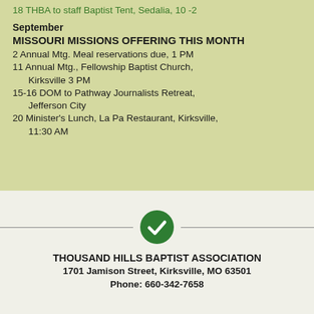18 THBA to staff Baptist Tent, Sedalia, 10 -2
September
MISSOURI MISSIONS OFFERING THIS MONTH
2 Annual Mtg. Meal reservations due, 1 PM
11 Annual Mtg., Fellowship Baptist Church, Kirksville 3 PM
15-16 DOM to Pathway Journalists Retreat, Jefferson City
20 Minister's Lunch, La Pa Restaurant, Kirksville, 11:30 AM
[Figure (logo): Green circle with white checkmark/down-arrow icon, used as a decorative divider]
THOUSAND HILLS BAPTIST ASSOCIATION
1701 Jamison Street, Kirksville, MO 63501
Phone: 660-342-7658